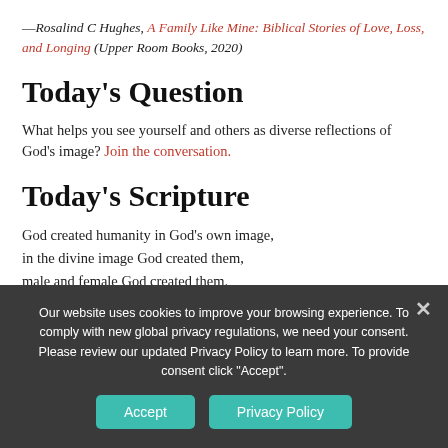—Rosalind C Hughes, A Family Like Mine: Biblical Stories of Love, Loss, and Longing (Upper Room Books, 2020)
Today's Question
What helps you see yourself and others as diverse reflections of God's image? Join the conversation.
Today's Scripture
God created humanity in God's own image, in the divine image God created them, male and female God created them.
—Genesis 1:27 (CEB)
Our website uses cookies to improve your browsing experience. To comply with new global privacy regulations, we need your consent. Please review our updated Privacy Policy to learn more. To provide consent click "Accept".